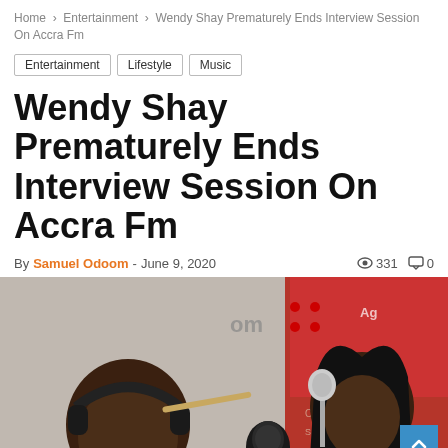Home > Entertainment > Wendy Shay Prematurely Ends Interview Session On Accra Fm
Entertainment
Lifestyle
Music
Wendy Shay Prematurely Ends Interview Session On Accra Fm
By Samuel Odoom - June 9, 2020  331  0
[Figure (photo): Two people in a radio studio. On the left, a man wearing headphones speaking into a large studio microphone. On the right, a woman in front of a microphone in what appears to be the same radio studio with red and white branding visible in the background.]